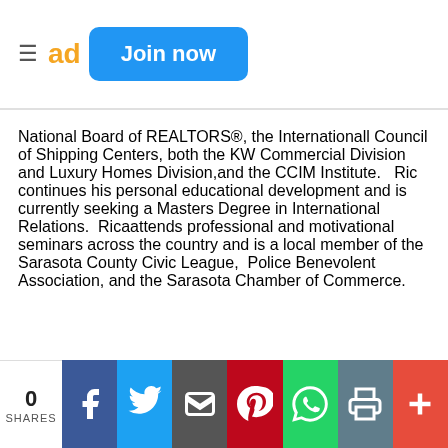Join now
National Board of REALTORS®, the Internationall Council of Shipping Centers, both the KW Commercial Division and Luxury Homes Division,and the CCIM Institute.   Ric continues his personal educational development and is currently seeking a Masters Degree in International Relations.  Ricaattends professional and motivational seminars across the country and is a local member of the Sarasota County Civic League,  Police Benevolent Association, and the Sarasota Chamber of Commerce.
0 SHARES | Facebook | Twitter | Email | Pinterest | WhatsApp | Print | Plus